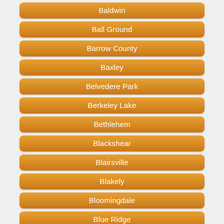Baldwin
Ball Ground
Barrow County
Baxley
Belvedere Park
Berkeley Lake
Bethlehem
Blackshear
Blairsville
Blakely
Bloomingdale
Blue Ridge
Bogart